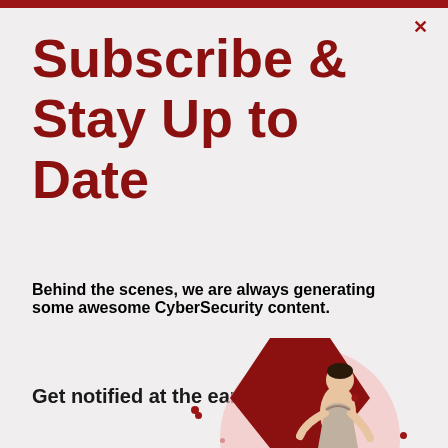Subscribe & Stay Up to Date
Behind the scenes, we are always generating some awesome CyberSecurity content.
Get notified at the earliest.
[Figure (illustration): Illustration of a person in business attire working or typing, shown from the waist up, positioned over a dark red hexagonal shape with a pink circular background. Decorative small red dots scattered around.]